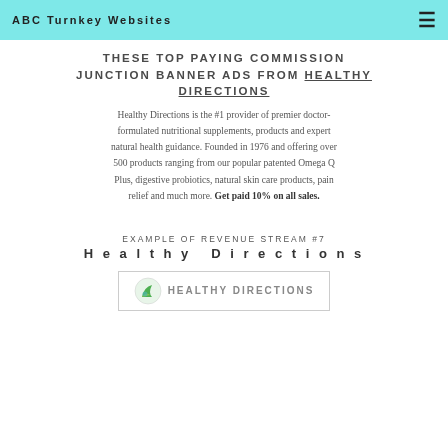ABC Turnkey Websites
THESE TOP PAYING COMMISSION JUNCTION BANNER ADS FROM Healthy Directions
Healthy Directions is the #1 provider of premier doctor-formulated nutritional supplements, products and expert natural health guidance. Founded in 1976 and offering over 500 products ranging from our popular patented Omega Q Plus, digestive probiotics, natural skin care products, pain relief and much more. Get paid 10% on all sales.
Example of Revenue Stream #7
Healthy Directions
[Figure (logo): Healthy Directions logo with green leaf icon and company name in grey uppercase letters]